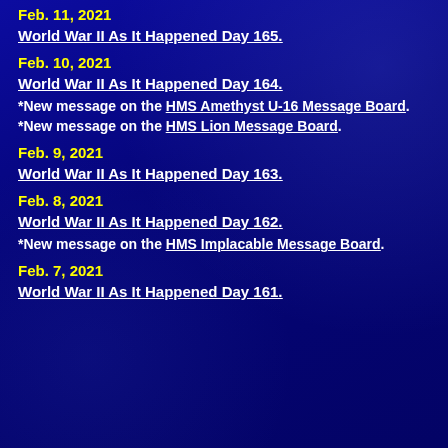Feb. 11, 2021
World War II As It Happened Day 165.
Feb. 10, 2021
World War II As It Happened Day 164.
*New message on the HMS Amethyst U-16 Message Board.
*New message on the HMS Lion Message Board.
Feb. 9, 2021
World War II As It Happened Day 163.
Feb. 8, 2021
World War II As It Happened Day 162.
*New message on the HMS Implacable Message Board.
Feb. 7, 2021
World War II As It Happened Day 161.